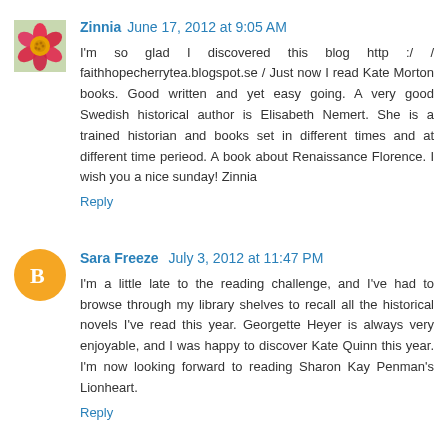[Figure (photo): Flower avatar (pink zinnia) for user Zinnia]
Zinnia June 17, 2012 at 9:05 AM
I'm so glad I discovered this blog http :/ /faithhopecherrytea.blogspot.se / Just now I read Kate Morton books. Good written and yet easy going. A very good Swedish historical author is Elisabeth Nemert. She is a trained historian and books set in different times and at different time perieod. A book about Renaissance Florence. I wish you a nice sunday! Zinnia
Reply
[Figure (logo): Orange circle avatar with Blogger 'B' icon for user Sara Freeze]
Sara Freeze July 3, 2012 at 11:47 PM
I'm a little late to the reading challenge, and I've had to browse through my library shelves to recall all the historical novels I've read this year. Georgette Heyer is always very enjoyable, and I was happy to discover Kate Quinn this year. I'm now looking forward to reading Sharon Kay Penman's Lionheart.
Reply